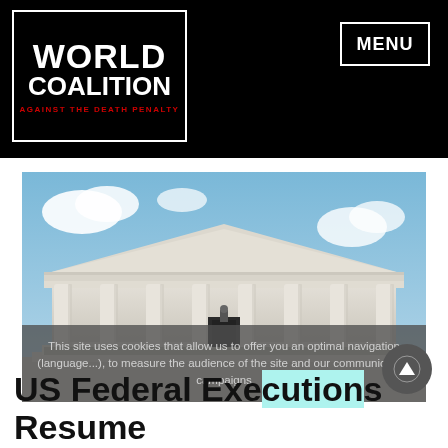WORLD COALITION AGAINST THE DEATH PENALTY | MENU
[Figure (photo): Photograph of the United States Supreme Court building facade, showing classical columns, pediment with sculpted frieze, and steps leading to the entrance, against a partly cloudy sky.]
This site uses cookies that allow us to offer you an optimal navigation (language...), to measure the audience of the site and our communication campaigns
US Federal Executions Resume